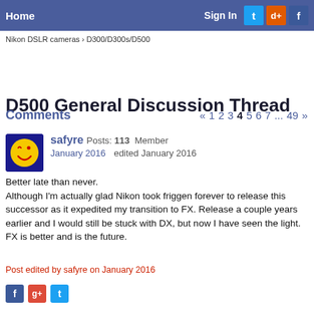Home | Sign In
Nikon DSLR cameras › D300/D300s/D500
D500 General Discussion Thread
Comments « 1 2 3 4 5 6 7 ... 49 »
safyre Posts: 113 Member
January 2016  edited January 2016
Better late than never.
Although I'm actually glad Nikon took friggen forever to release this successor as it expedited my transition to FX. Release a couple years earlier and I would still be stuck with DX, but now I have seen the light. FX is better and is the future.
Post edited by safyre on January 2016